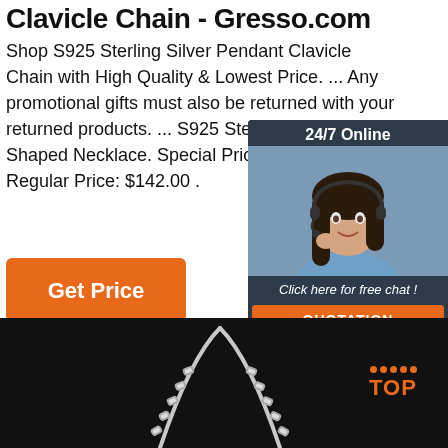Clavicle Chain - Gresso.com
Shop S925 Sterling Silver Pendant Clavicle Chain with High Quality & Lowest Price. ... Any promotional gifts must also be returned with your returned products. ... S925 Sterling Silver Heart-Shaped Necklace. Special Price $ Regular Price: $142.00 .
[Figure (illustration): Orange 'Get Price' button]
[Figure (illustration): 24/7 Online chat widget with a customer service woman wearing a headset, and a 'Click here for free chat!' message with an orange QUOTATION button]
[Figure (photo): Dark background product photo of a silver clavicle/box chain necklace with a 'TOP' button in orange on the right side]